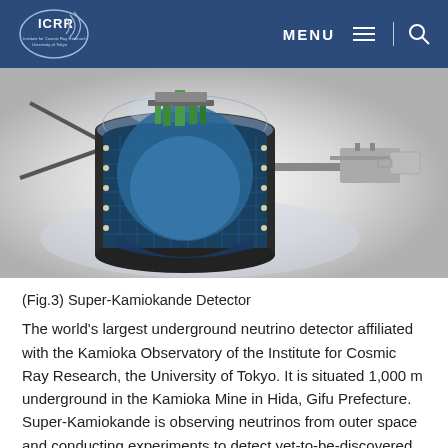ICRR — Institute for Cosmic Ray Research, University of Tokyo | MENU
[Figure (illustration): Cutaway 3D illustration of the Super-Kamiokande neutrino detector, showing the cylindrical tank with photomultiplier tubes on the inner walls, blue water layers inside, and green detector equipment at the top. A beam line/access tunnel extends to the right side.]
(Fig.3) Super-Kamiokande Detector
The world's largest underground neutrino detector affiliated with the Kamioka Observatory of the Institute for Cosmic Ray Research, the University of Tokyo. It is situated 1,000 m underground in the Kamioka Mine in Hida, Gifu Prefecture. Super-Kamiokande is observing neutrinos from outer space and conducting experiments to detect yet-to-be-discovered